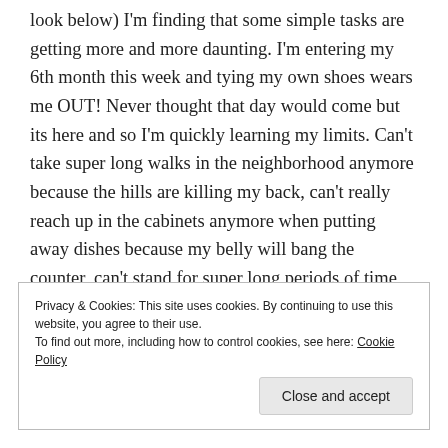look below) I'm finding that some simple tasks are getting more and more daunting. I'm entering my 6th month this week and tying my own shoes wears me OUT! Never thought that day would come but its here and so I'm quickly learning my limits. Can't take super long walks in the neighborhood anymore because the hills are killing my back, can't really reach up in the cabinets anymore when putting away dishes because my belly will bang the counter, can't stand for super long periods of time because my feet swell, need to hang on when I'm entering the shower...oh wait, that's just because I'm clumsy! Either way you get my drift of the
Privacy & Cookies: This site uses cookies. By continuing to use this website, you agree to their use.
To find out more, including how to control cookies, see here: Cookie Policy
Close and accept